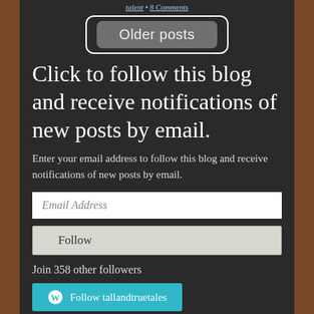talent • 8 Comments
[Figure (other): Older posts button — a rounded-rectangle border containing a grey pill-shaped button with text 'Older posts' in chalk-style font]
Click to follow this blog and receive notifications of new posts by email.
Enter your email address to follow this blog and receive notifications of new posts by email.
Email Address (input field)
Follow (button)
Join 358 other followers
Follow tallandtruetales (WordPress follow button)